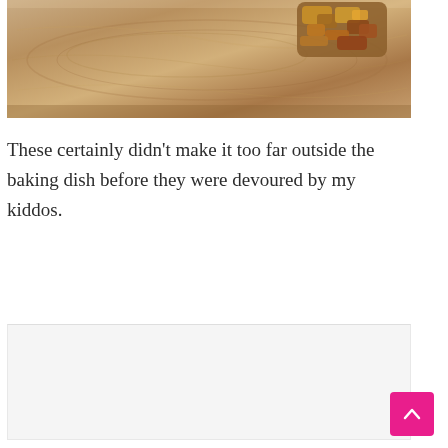[Figure (photo): Food item (crumble/stuffing) on a wooden cutting board, close-up shot from above]
These certainly didn’t make it too far outside the baking dish before they were devoured by my kiddos.
[Figure (other): Light gray content box / advertisement placeholder area]